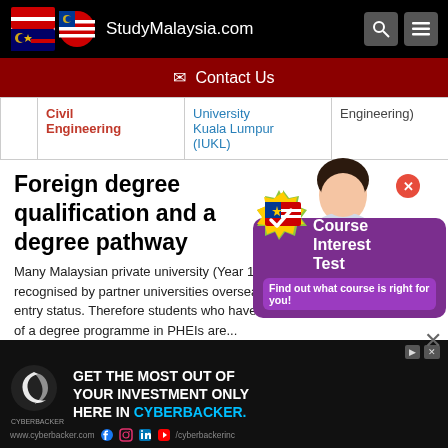StudyMalaysia.com
✉ Contact Us
|  | Civil Engineering | University Kuala Lumpur (IUKL) | Engineering) | of Por UK |
| --- | --- | --- | --- | --- |
|  |
Foreign degree qualification and a degree pathway
Many Malaysian private university (Year 1 and Year 2 curriculum) are recognised by partner universities overseas with 'advanced standing' entry status. Therefore students who have completed Year 1 or Year 2 of a degree programme in PHEIs are...
[Figure (screenshot): Course Interest Test popup overlay with Malaysian flag checkmark logo and student image]
[Figure (screenshot): Cyberbacker advertisement banner: GET THE MOST OUT OF YOUR INVESTMENT ONLY HERE IN CYBERBACKER.]